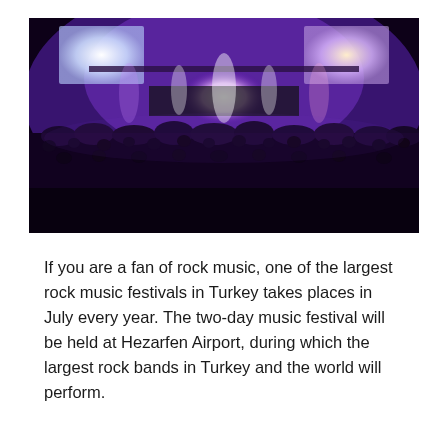[Figure (photo): A large rock concert viewed from behind the crowd. The stage is lit with bright white and purple lights, with large screens on either side. A massive crowd of people fills the venue.]
If you are a fan of rock music, one of the largest rock music festivals in Turkey takes places in July every year. The two-day music festival will be held at Hezarfen Airport, during which the largest rock bands in Turkey and the world will perform.
Commemoration of Atatürk, Youth and Sports Day